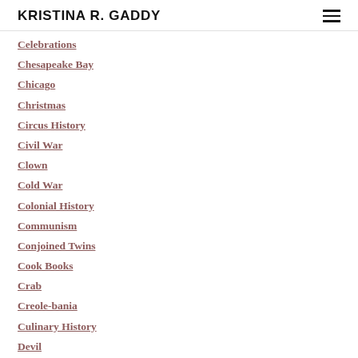KRISTINA R. GADDY
Celebrations
Chesapeake Bay
Chicago
Christmas
Circus History
Civil War
Clown
Cold War
Colonial History
Communism
Conjoined Twins
Cook Books
Crab
Creole-bania
Culinary History
Devil
Dutch History